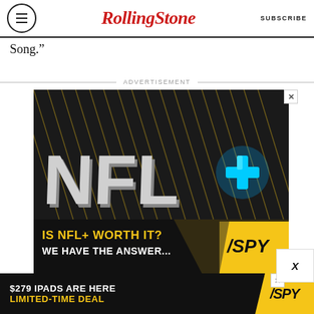RollingStone | SUBSCRIBE
Song.”
ADVERTISEMENT
[Figure (infographic): NFL+ advertisement showing the NFL+ logo in 3D silver letters with a blue glowing plus sign. Below reads 'IS NFL+ WORTH IT? WE HAVE THE ANSWER...' with a SPY logo on a yellow background.]
[Figure (infographic): $279 IPADS ARE HERE LIMITED-TIME DEAL advertisement with SPY logo on yellow background]